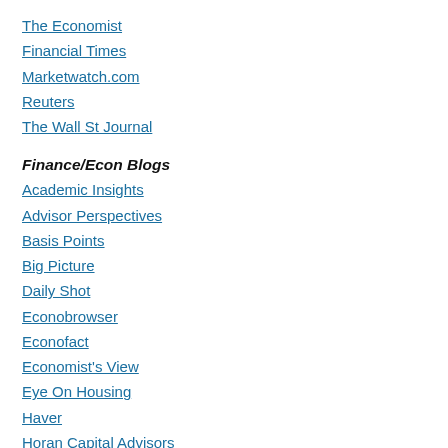The Economist
Financial Times
Marketwatch.com
Reuters
The Wall St Journal
Finance/Econ Blogs
Academic Insights
Advisor Perspectives
Basis Points
Big Picture
Daily Shot
Econobrowser
Econofact
Economist's View
Eye On Housing
Haver
Horan Capital Advisors
Money Illusion